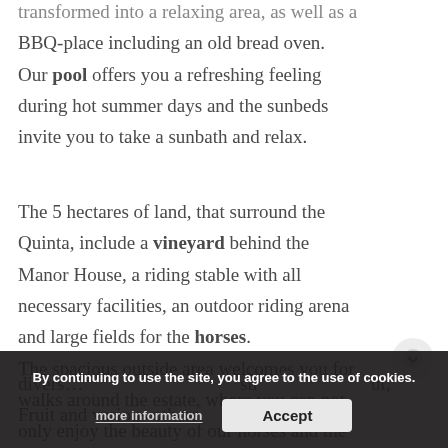transformed into a relaxing area, as well as a BBQ-place including an old bread oven. Our pool offers you a refreshing feeling during hot summer days and the sunbeds invite you to take a sunbath and relax.
The 5 hectares of land, that surround the Quinta, include a vineyard behind the Manor House, a riding stable with all necessary facilities, an outdoor riding arena and large fields for the horses. The spacious outside area welcomes you for walks around the estate, where you can not only enjoy the beauty of our horses and the
diverse ... sh ... out, Fruit and various others.
By continuing to use the site, you agree to the use of cookies.
more information
Accept